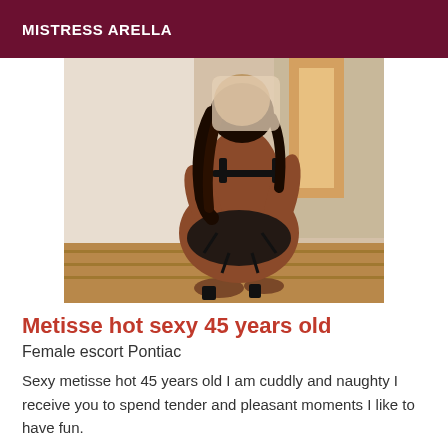MISTRESS ARELLA
[Figure (photo): Woman posing from behind in black lingerie and high heels, kneeling on a wooden floor, face blurred.]
Metisse hot sexy 45 years old
Female escort Pontiac
Sexy metisse hot 45 years old I am cuddly and naughty I receive you to spend tender and pleasant moments I like to have fun.